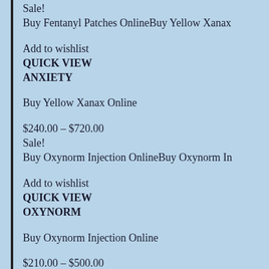Sale!
Buy Fentanyl Patches OnlineBuy Yellow Xanax
Add to wishlist
QUICK VIEW
ANXIETY
Buy Yellow Xanax Online
$240.00 – $720.00
Sale!
Buy Oxynorm Injection OnlineBuy Oxynorm Injection Online
Add to wishlist
QUICK VIEW
OXYNORM
Buy Oxynorm Injection Online
$210.00 – $500.00
Sale!
Buy Fentanyl Patches Online
Add to wishlist
QUICK VIEW
BUY FENTANYL PATCHES ONLINE